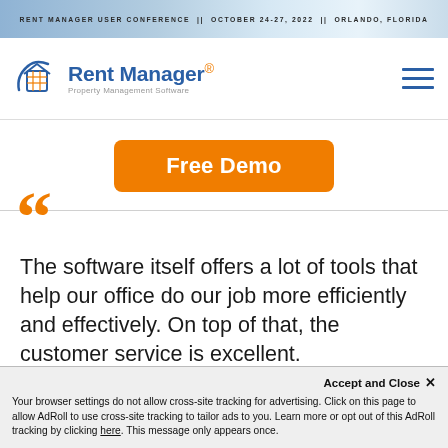RENT MANAGER USER CONFERENCE // OCTOBER 24-27, 2022 // ORLANDO, FLORIDA
[Figure (logo): Rent Manager Property Management Software logo with house/building icon in blue and orange]
Free Demo
The software itself offers a lot of tools that help our office do our job more efficiently and effectively. On top of that, the customer service is excellent.
Accept and Close ✕  Your browser settings do not allow cross-site tracking for advertising. Click on this page to allow AdRoll to use cross-site tracking to tailor ads to you. Learn more or opt out of this AdRoll tracking by clicking here. This message only appears once.